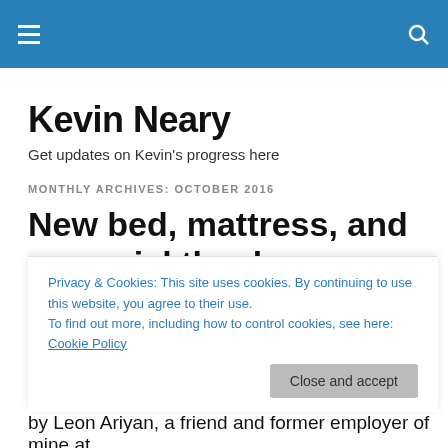Kevin Neary – navigation bar with hamburger menu and search icon
Kevin Neary
Get updates on Kevin's progress here
MONTHLY ARCHIVES: OCTOBER 2016
New bed, mattress, and a special thank you from Kevin
by Leon Ariyan, a friend and former employer of mine at
Privacy & Cookies: This site uses cookies. By continuing to use this website, you agree to their use.
To find out more, including how to control cookies, see here: Cookie Policy
Close and accept